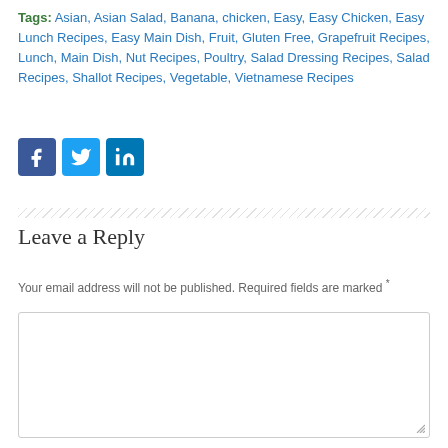Tags: Asian, Asian Salad, Banana, chicken, Easy, Easy Chicken, Easy Lunch Recipes, Easy Main Dish, Fruit, Gluten Free, Grapefruit Recipes, Lunch, Main Dish, Nut Recipes, Poultry, Salad Dressing Recipes, Salad Recipes, Shallot Recipes, Vegetable, Vietnamese Recipes
[Figure (other): Social sharing buttons: Facebook (blue square with f icon), Twitter (light blue square with bird icon), LinkedIn (blue square with in icon)]
Leave a Reply
Your email address will not be published. Required fields are marked *